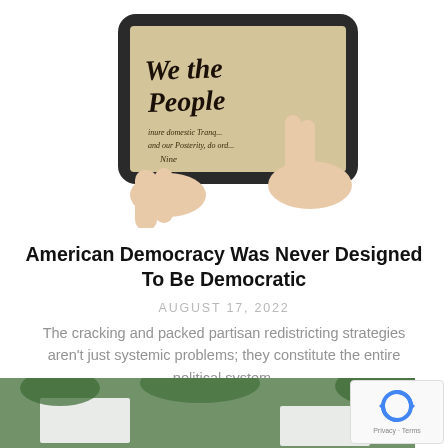[Figure (photo): Hands holding a tablet device displaying a close-up of the U.S. Constitution text 'We the People']
American Democracy Was Never Designed To Be Democratic
AUGUST 17, 2022
The cracking and packed partisan redistricting strategies aren't just systemic problems; they constitute the entire political system.
[Figure (photo): Partially visible protest signs outdoors with greenery in background]
[Figure (logo): Google reCAPTCHA badge with Privacy and Terms links]